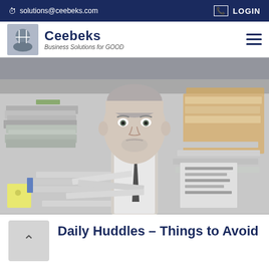solutions@ceebeks.com   LOGIN
[Figure (logo): Ceebeks logo with handshake image, brand name 'Ceebeks' in dark navy bold, tagline 'Business Solutions for GOOD']
[Figure (photo): A middle-aged man in a suit and tie surrounded by and buried in piles of paper documents and folders, looking stressed, black and white/desaturated tone]
Daily Huddles – Things to Avoid